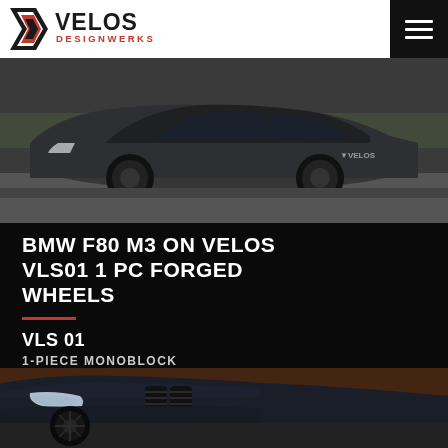[Figure (logo): Velos Designwerks logo — black chevron/arrow icon on left, bold black VELOS text, red DESIGNWERKS text below]
[Figure (photo): Dark grey BMW F80 M3 shot from front-left angle, parked on track surface, fitted with dark forged wheels, low stance; VELOS watermark visible on right]
BMW F80 M3 ON VELOS VLS01 1 PC FORGED WHEELS
VLS 01
1-PIECE MONOBLOCK
[Figure (photo): Close-up front quarter view of dark navy/charcoal BMW M3 showing headlight, kidney grille, and front wheel with dark forged wheel visible, reddish-brown textured wall in background]